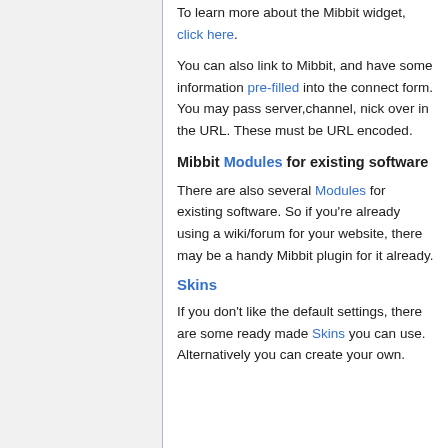To learn more about the Mibbit widget, click here.
You can also link to Mibbit, and have some information pre-filled into the connect form. You may pass server,channel, nick over in the URL. These must be URL encoded.
Mibbit Modules for existing software
There are also several Modules for existing software. So if you're already using a wiki/forum for your website, there may be a handy Mibbit plugin for it already.
Skins
If you don't like the default settings, there are some ready made Skins you can use. Alternatively you can create your own.